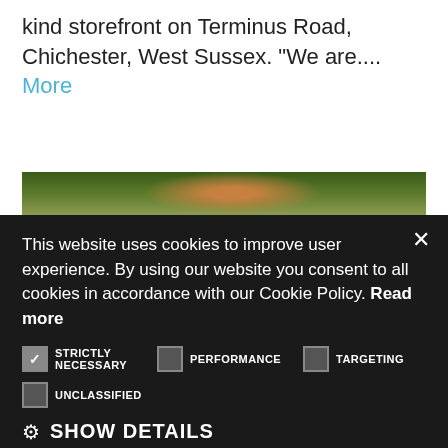kind storefront on Terminus Road, Chichester, West Sussex. "We are.... More
[Figure (photo): Partial photo of a plant/nature scene with green foliage and warm lighting, partially obscured by cookie consent overlay]
This website uses cookies to improve user experience. By using our website you consent to all cookies in accordance with our Cookie Policy. Read more
STRICTLY NECESSARY (checked), PERFORMANCE (unchecked), TARGETING (unchecked)
UNCLASSIFIED (unchecked)
⚙ SHOW DETAILS
ACCEPT ALL
DECLINE ALL